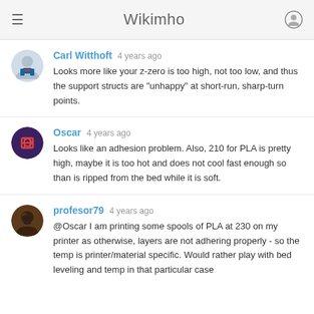Wikimho
Carl Witthoft  4 years ago
Looks more like your z-zero is too high, not too low, and thus the support structs are "unhappy" at short-run, sharp-turn points.
Oscar  4 years ago
Looks like an adhesion problem. Also, 210 for PLA is pretty high, maybe it is too hot and does not cool fast enough so than is ripped from the bed while it is soft.
profesor79  4 years ago
@Oscar I am printing some spools of PLA at 230 on my printer as otherwise, layers are not adhering properly - so the temp is printer/material specific. Would rather play with bed leveling and temp in that particular case